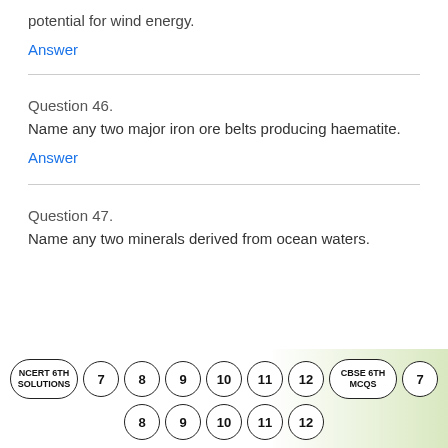potential for wind energy.
Answer
Question 46.
Name any two major iron ore belts producing haematite.
Answer
Question 47.
Name any two minerals derived from ocean waters.
NCERT 6TH SOLUTIONS 7 8 9 10 11 12 CBSE 6TH MCQS 7 8 9 10 11 12